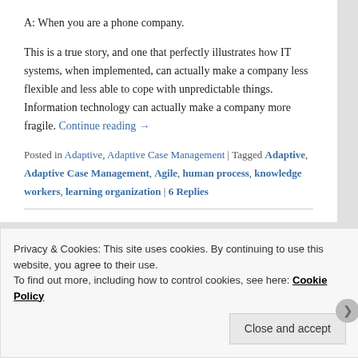A: When you are a phone company.
This is a true story, and one that perfectly illustrates how IT systems, when implemented, can actually make a company less flexible and less able to cope with unpredictable things.  Information technology can actually make a company more fragile. Continue reading →
Posted in Adaptive, Adaptive Case Management | Tagged Adaptive, Adaptive Case Management, Agile, human process, knowledge workers, learning organization | 6 Replies
Privacy & Cookies: This site uses cookies. By continuing to use this website, you agree to their use.
To find out more, including how to control cookies, see here: Cookie Policy
Close and accept